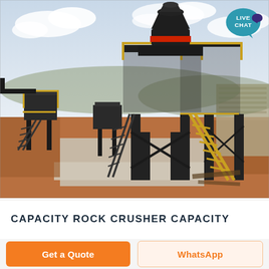[Figure (photo): Outdoor photo of a large industrial rock crusher plant with black steel structure, yellow safety railings, staircases, and a cone/gyratory crusher on top of an elevated platform. Red-orange sand/soil ground, concrete slabs, and a stone wall visible in background under a partly cloudy sky. A 'LIVE CHAT' speech bubble icon appears in the upper right corner.]
CAPACITY ROCK CRUSHER CAPACITY
Get a Quote
WhatsApp